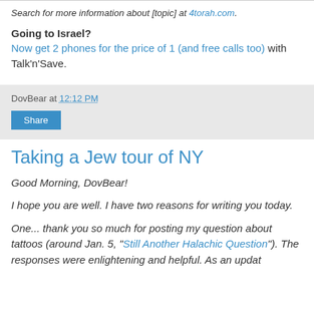Search for more information about [topic] at 4torah.com.
Going to Israel? Now get 2 phones for the price of 1 (and free calls too) with Talk'n'Save.
DovBear at 12:12 PM
Share
Taking a Jew tour of NY
Good Morning, DovBear!
I hope you are well. I have two reasons for writing you today.
One... thank you so much for posting my question about tattoos (around Jan. 5, "Still Another Halachic Question"). The responses were enlightening and helpful. As an updat